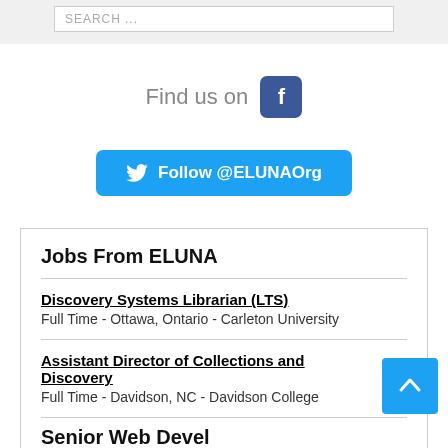SEARCH ...
[Figure (logo): Find us on Facebook icon with text 'Find us on' and a blue Facebook logo square]
[Figure (logo): Twitter Follow button: 'Follow @ELUNAOrg' in blue rounded rectangle with Twitter bird icon]
Jobs From ELUNA
Discovery Systems Librarian (LTS)
Full Time - Ottawa, Ontario - Carleton University
Assistant Director of Collections and Discovery
Full Time - Davidson, NC - Davidson College
Senior Web Devel...